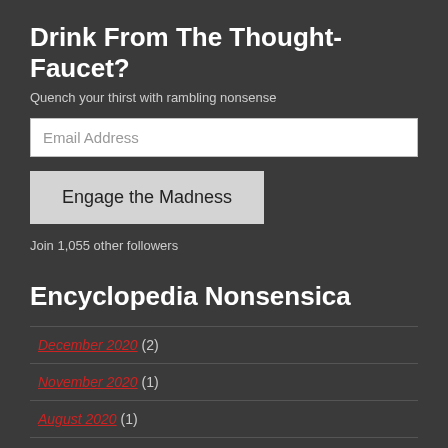Drink From The Thought-Faucet?
Quench your thirst with rambling nonsense
Email Address
Engage the Madness
Join 1,055 other followers
Encyclopedia Nonsensica
December 2020 (2)
November 2020 (1)
August 2020 (1)
July 2020 (2)